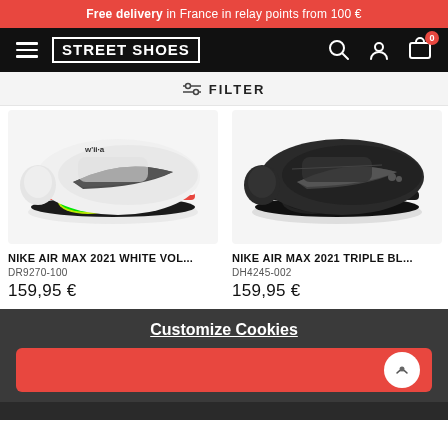Free delivery in France in relay points from 100 €
[Figure (screenshot): Street Shoes e-commerce website header with hamburger menu, logo, search, account and cart icons]
FILTER
[Figure (photo): Nike Air Max 2021 White Volt sneaker, side profile view on light grey background]
[Figure (photo): Nike Air Max 2021 Triple Black sneaker, side profile view on light grey background]
NIKE AIR MAX 2021 WHITE VOL...
DR9270-100
159,95 €
NIKE AIR MAX 2021 TRIPLE BL...
DH4245-002
159,95 €
Customize Cookies
[Figure (screenshot): Orange cookie consent button with white chat bubble icon on right side]